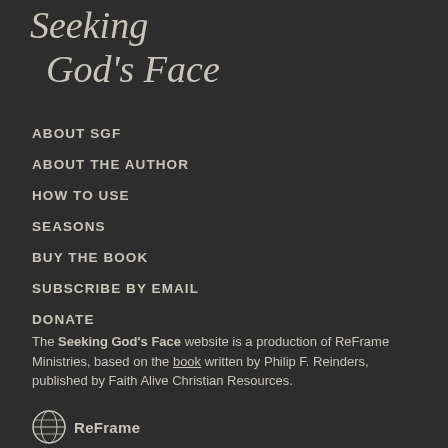Seeking God's Face
ABOUT SGF
ABOUT THE AUTHOR
HOW TO USE
SEASONS
BUY THE BOOK
SUBSCRIBE BY EMAIL
DONATE
The Seeking God's Face website is a production of ReFrame Ministries, based on the book written by Philip F. Reinders, published by Faith Alive Christian Resources.
[Figure (logo): ReFrame Ministries logo — circular globe icon with ReFrame text]